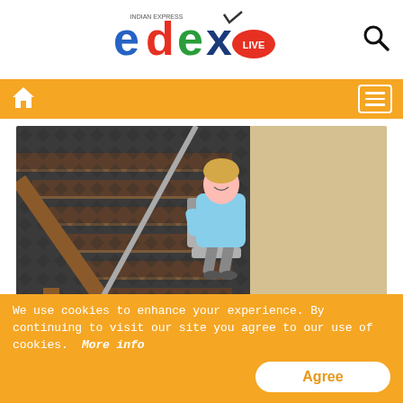[Figure (logo): Edex Live logo (Indian Express) with colorful letters e-d-e-x and LIVE badge]
[Figure (photo): Woman sitting on a stair lift chair on carpeted stairs inside a home, smiling]
The Cost of Stair Lifts May Surprise You
We use cookies to enhance your experience. By continuing to visit our site you agree to our use of cookies. More info